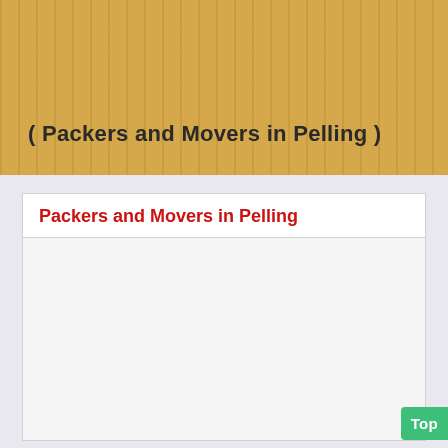( Packers and Movers in Pelling )
Packers and Movers in Pelling
Top